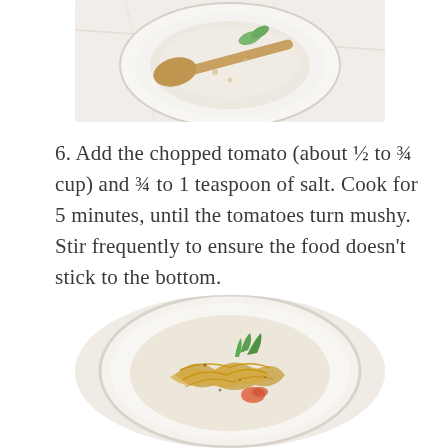[Figure (photo): Top-down view of a white bowl or pan with food being stirred with a wooden spoon, on a marble surface]
6. Add the chopped tomato (about ½ to ¾ cup) and ¾ to 1 teaspoon of salt. Cook for 5 minutes, until the tomatoes turn mushy. Stir frequently to ensure the food doesn't stick to the bottom.
[Figure (photo): Top-down view of a round white pot or Dutch oven containing cooked ingredients including golden-brown onions, tomatoes, and green herbs on a marble surface]